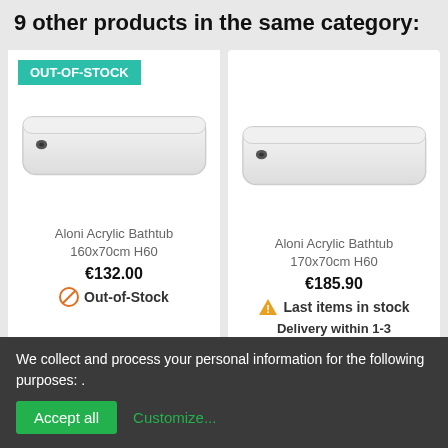9 other products in the same category:
[Figure (photo): Aloni Acrylic Bathtub 160x70cm H60 product image, white bathtub, out-of-stock badge]
Aloni Acrylic Bathtub 160x70cm H60
€132.00
Out-of-Stock
[Figure (photo): Aloni Acrylic Bathtub 170x70cm H60 product image, white bathtub]
Aloni Acrylic Bathtub 170x70cm H60
€185.90
Last items in stock
Delivery within 1-3
We collect and process your personal information for the following purposes: .
Accept all
Customize...